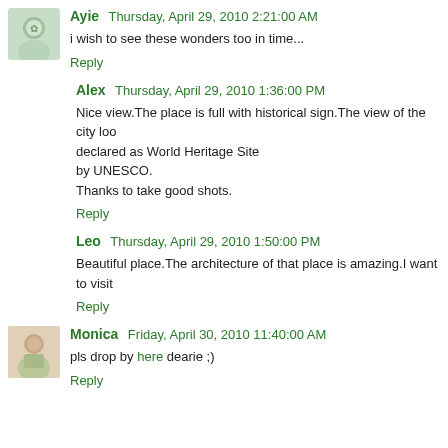[Figure (photo): Small avatar image for user Ayie, circular/rounded, greenish tones]
Ayie  Thursday, April 29, 2010 2:21:00 AM
i wish to see these wonders too in time...
Reply
Alex  Thursday, April 29, 2010 1:36:00 PM
Nice view.The place is full with historical sign.The view of the city loo declared as World Heritage Site by UNESCO. Thanks to take good shots.
Reply
Leo  Thursday, April 29, 2010 1:50:00 PM
Beautiful place.The architecture of that place is amazing.I want to visit
Reply
[Figure (photo): Small avatar photo for user Monica, woman with light background]
Monica  Friday, April 30, 2010 11:40:00 AM
pls drop by here dearie ;)
Reply